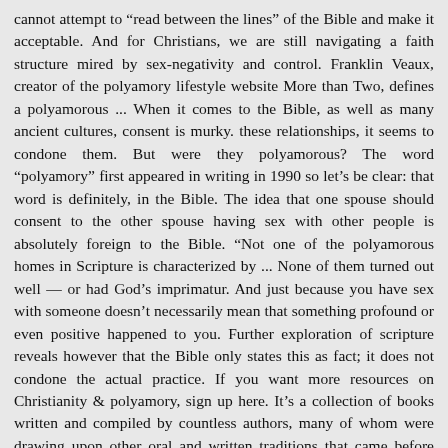cannot attempt to “read between the lines” of the Bible and make it acceptable. And for Christians, we are still navigating a faith structure mired by sex-negativity and control. Franklin Veaux, creator of the polyamory lifestyle website More than Two, defines a polyamorous ... When it comes to the Bible, as well as many ancient cultures, consent is murky. these relationships, it seems to condone them. But were they polyamorous? The word “polyamory” first appeared in writing in 1990 so let’s be clear: that word is definitely, in the Bible. The idea that one spouse should consent to the other spouse having sex with other people is absolutely foreign to the Bible. “Not one of the polyamorous homes in Scripture is characterized by ... None of them turned out well — or had God’s imprimatur. And just because you have sex with someone doesn’t necessarily mean that something profound or even positive happened to you. Further exploration of scripture reveals however that the Bible only states this as fact; it does not condone the actual practice. If you want more resources on Christianity & polyamory, sign up here. It’s a collection of books written and compiled by countless authors, many of whom were drawing upon other oral and written traditions that came before them. The word “polyamory” is a compound of two words: “poly,” which is Greek for “many,” and “amor,” which is Latin for “love.” In fact, there are over 40 examples of nonmongamous relationships described in the Bible. 10